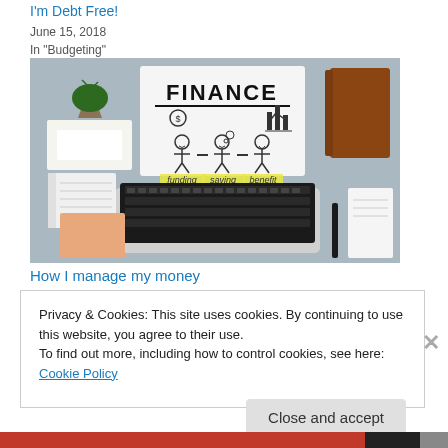I'm Debt Free!
June 15, 2018
In "Budgeting"
[Figure (photo): Overhead flat-lay photo of a desk with a laptop keyboard, notebooks, a potted plant, and a whiteboard sign showing FINANCE with stick figures labeled 'funding', 'saving', 'benefit'.]
How I manage my money
Privacy & Cookies: This site uses cookies. By continuing to use this website, you agree to their use.
To find out more, including how to control cookies, see here: Cookie Policy
Close and accept